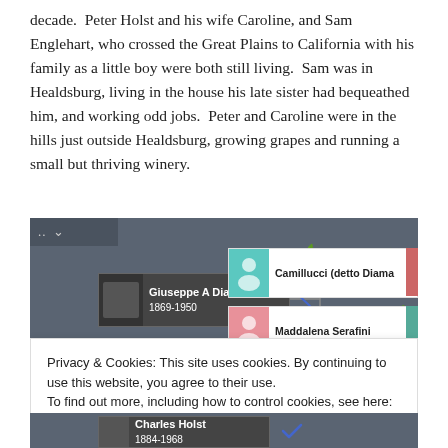decade.  Peter Holst and his wife Caroline, and Sam Englehart, who crossed the Great Plains to California with his family as a little boy were both still living.  Sam was in Healdsburg, living in the house his late sister had bequeathed him, and working odd jobs.  Peter and Caroline were in the hills just outside Healdsburg, growing grapes and running a small but thriving winery.
[Figure (screenshot): Screenshot of an online genealogy tree tool showing person cards for Giuseppe A Diamantini (1869-1950), Camillucci (detto Diama), Maddalena Serafini, James E Diamantini, and Charles Holst (1884-1968), with a cookie consent banner overlay.]